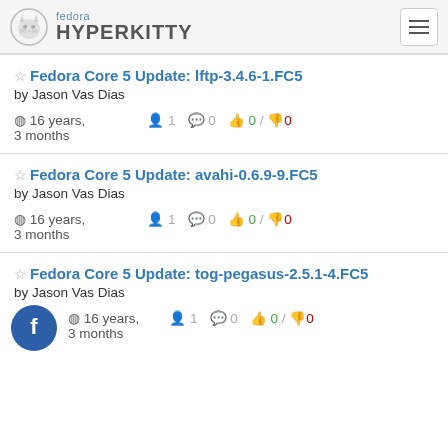fedora HYPERKITTY
Fedora Core 5 Update: lftp-3.4.6-1.FC5
by Jason Vas Dias
16 years, 3 months   1   0   0 / 0
Fedora Core 5 Update: avahi-0.6.9-9.FC5
by Jason Vas Dias
16 years, 3 months   1   0   0 / 0
Fedora Core 5 Update: tog-pegasus-2.5.1-4.FC5
by Jason Vas Dias
16 years, 3 months   1   0   0 / 0